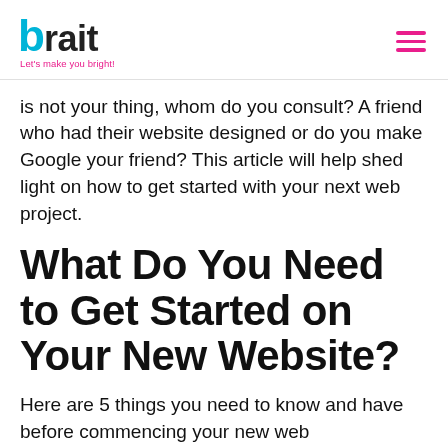brait — Let's make you bright!
is not your thing, whom do you consult? A friend who had their website designed or do you make Google your friend? This article will help shed light on how to get started with your next web project.
What Do You Need to Get Started on Your New Website?
Here are 5 things you need to know and have before commencing your new web